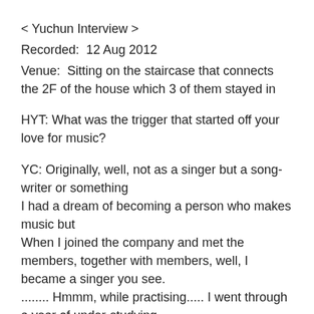< Yuchun Interview >
Recorded:  12 Aug 2012
Venue:  Sitting on the staircase that connects the 2F of the house which 3 of them stayed in
HYT: What was the trigger that started off your love for music?
YC: Originally, well, not as a singer but a song-writer or something
I had a dream of becoming a person who makes music but
When I joined the company and met the members, together with members, well, I became a singer you see.
........ Hmmm, while practising..... I went through a year of under-studying.....
Practised and debut after 1 year of training........ originally